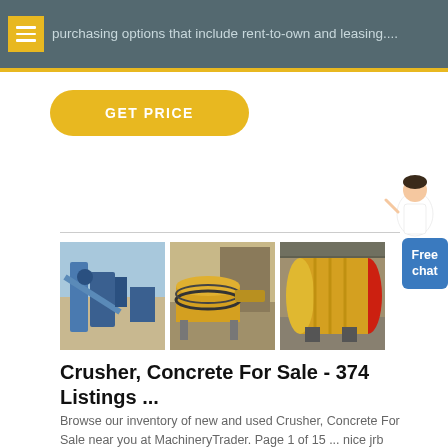purchasing options that include rent-to-own and leasing....
GET PRICE
[Figure (photo): Three machinery photos: (1) blue industrial crushing/processing plant, (2) yellow ball mill machine, (3) yellow cylindrical ball mill with red end cap in a warehouse]
Crusher, Concrete For Sale - 374 Listings ...
Browse our inventory of new and used Crusher, Concrete For Sale near you at MachineryTrader. Page 1 of 15 ... nice jrb concrete/rock crusher,fits all